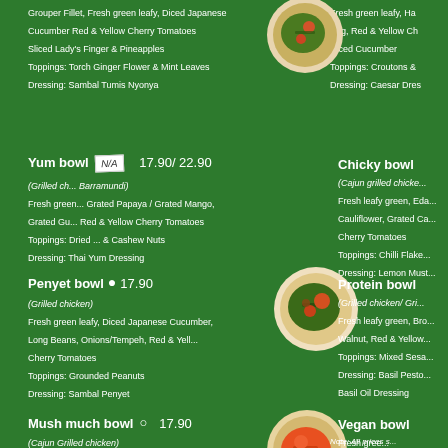Grouper Fillet, Fresh green leafy, Diced Japanese Cucumber Red & Yellow Cherry Tomatoes, Sliced Lady's Finger & Pineapples, Toppings: Torch Ginger Flower & Mint Leaves, Dressing: Sambal Tumis Nyonya
Fresh green leafy, Ha Egg, Red & Yellow Ch, Diced Cucumber, Toppings: Croutons &, Dressing: Caesar Dres
Yum bowl  17.90/ 22.90
(Grilled ch... Barramundi)
Fresh green... Grated Papaya / Grated Mango, Grated Gu... Red & Yellow Cherry Tomatoes
Toppings: Dried ... & Cashew Nuts
Dressing: Thai Yum Dressing
Chicky bowl
(Cajun grilled chicke...
Fresh leafy green, Eda... Cauliflower, Grated Ca... Cherry Tomatoes
Toppings: Chilli Flake...
Dressing: Lemon Must...
Penyet bowl ✓  17.90
(Grilled chicken)
Fresh green leafy, Diced Japanese Cucumber, Long Beans, Onions/Tempeh, Red & Yell... Cherry Tomatoes
Toppings: Grounded Peanuts
Dressing: Sambal Penyet
Protein bowl
(Grilled chicken/ Gri...
Fresh leafy green, Bro... Walnut, Red & Yellow...
Toppings: Mixed Sesa...
Dressing: Basil Pesto... Basil Oil Dressing
Mush much bowl ✓  17.90
(Cajun Grilled chicken)
Fresh green leafy, Stir Fry Shimeji & Whit... Button Mushrooms, Roasted Pumpkin, Corns, Cauliflower
Toppings: Seaweed Flakes
Dressing: Balsamic Vinaigrette
Vegan bowl
Fresh gree... Apple, Cor...
Toppings: Mixed Sesa...
Dressing: Goma Dress...
Note: All prices s...
[Figure (photo): Amazon advertisement banner with logo, headline 'Amazon.com: Online Shopping for Everyone', subtext 'Shop at Amazon. Free Shipping with Prime. Best Deals Ever!' and amazon.com URL, with a purple circular button and close X button]